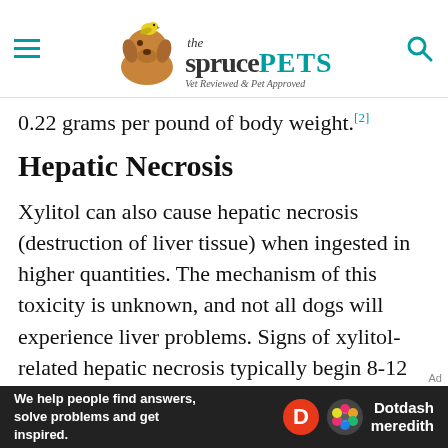the spruce PETS — Vet Reviewed & Pet Approved
0.22 grams per pound of body weight.[2]
Hepatic Necrosis
Xylitol can also cause hepatic necrosis (destruction of liver tissue) when ingested in higher quantities. The mechanism of this toxicity is unknown, and not all dogs will experience liver problems. Signs of xylitol-related hepatic necrosis typically begin 8-12 hours after ingestion. By this time, most dogs are already experiencing the effects of
[Figure (other): Dotdash Meredith advertisement banner: 'We help people find answers, solve problems and get inspired.' with Dotdash Meredith logo on dark background]